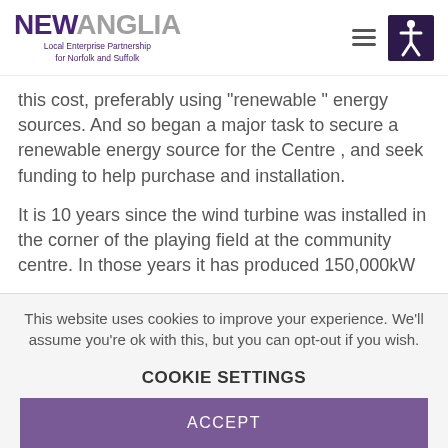NEW ANGLIA Local Enterprise Partnership for Norfolk and Suffolk
this cost, preferably using "renewable " energy sources. And so began a major task to secure a renewable energy source for the Centre , and seek funding to help purchase and installation.
It is 10 years since the wind turbine was installed in the corner of the playing field at the community centre. In those years it has produced 150,000kW
This website uses cookies to improve your experience. We'll assume you're ok with this, but you can opt-out if you wish.
COOKIE SETTINGS
ACCEPT